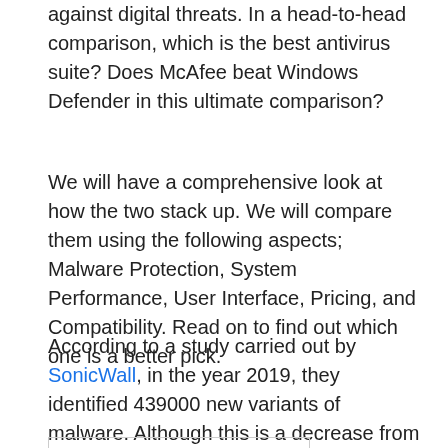against digital threats. In a head-to-head comparison, which is the best antivirus suite? Does McAfee beat Windows Defender in this ultimate comparison?
We will have a comprehensive look at how the two stack up. We will compare them using the following aspects; Malware Protection, System Performance, User Interface, Pricing, and Compatibility. Read on to find out which one is a better pick.
According to a study carried out by SonicWall, in the year 2019, they identified 439000 new variants of malware. Although this is a decrease from the previous year, the number of never seen before malware rose by 12.3% in 2019.